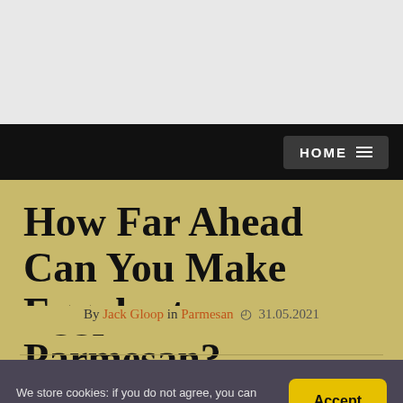HOME
How Far Ahead Can You Make Eggplant Parmesan?
By Jack Gloop in Parmesan  31.05.2021
We store cookies: if you do not agree, you can close the site Agreemen